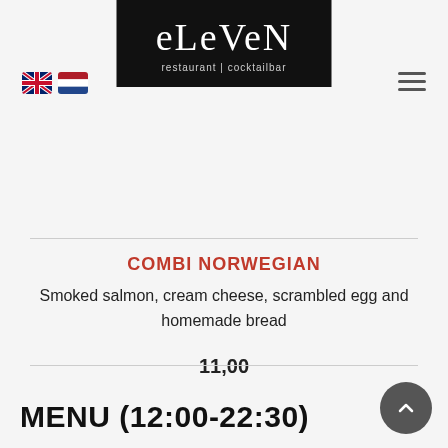[Figure (logo): Eleven restaurant cocktailbar logo — white text on black background]
[Figure (other): UK and Netherlands flag emoji icons for language selection]
[Figure (other): Hamburger menu icon (three horizontal lines)]
COMBI NORWEGIAN
Smoked salmon, cream cheese, scrambled egg and homemade bread
11,00
MENU (12:00-22:30)